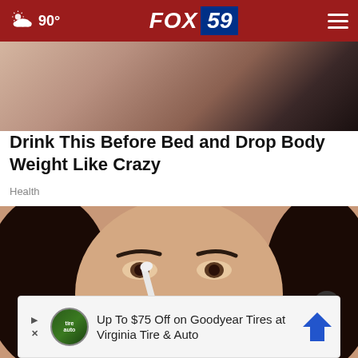90° FOX 59
[Figure (photo): Partial view of a person in a red and white outfit, top portion cropped]
Drink This Before Bed and Drop Body Weight Like Crazy
Health
[Figure (photo): Close-up of a woman with dark hair applying something white near her nose/eye area]
Up To $75 Off on Goodyear Tires at Virginia Tire & Auto